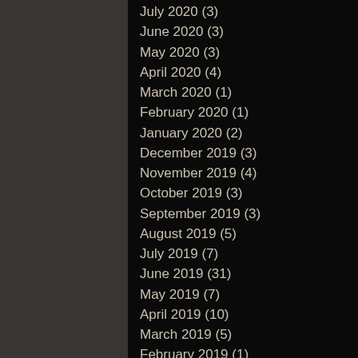July 2020 (3)
June 2020 (3)
May 2020 (3)
April 2020 (4)
March 2020 (1)
February 2020 (1)
January 2020 (2)
December 2019 (3)
November 2019 (4)
October 2019 (3)
September 2019 (3)
August 2019 (5)
July 2019 (7)
June 2019 (31)
May 2019 (7)
April 2019 (10)
March 2019 (5)
February 2019 (1)
January 2019 (5)
December 2018 (2)
November 2018 (3)
October 2018 (2)
September 2018 (3)